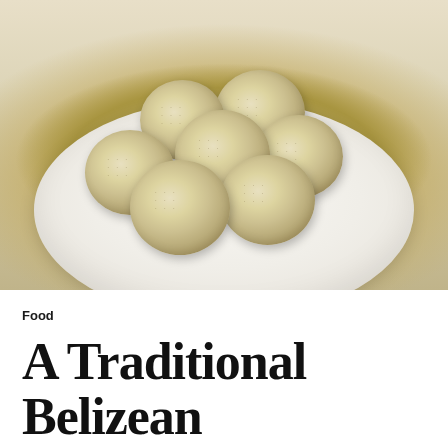[Figure (photo): A white decorative plate holding several round, pale golden Belizean fry jacks or biscuits with small holes poked on top, photographed on a white background.]
Food
A Traditional Belizean